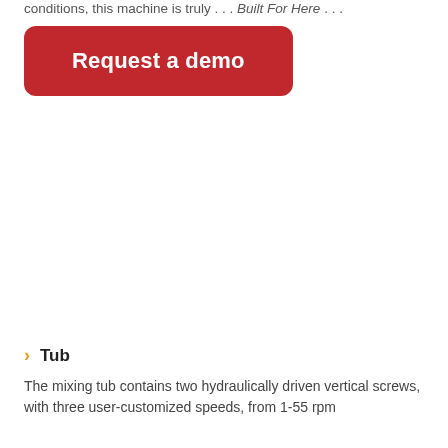conditions, this machine is truly . . . Built For Here . . .
[Figure (other): Red rounded rectangle button with white bold text 'Request a demo']
Tub
The mixing tub contains two hydraulically driven vertical screws, with three user-customized speeds, from 1-55 rpm